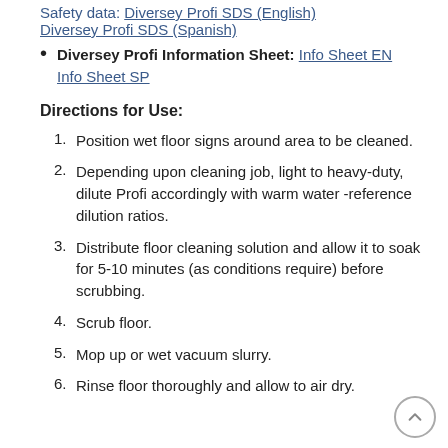Safety data: Diversey Profi SDS (English) Diversey Profi SDS (Spanish)
Diversey Profi Information Sheet: Info Sheet EN Info Sheet SP
Directions for Use:
1. Position wet floor signs around area to be cleaned.
2. Depending upon cleaning job, light to heavy-duty, dilute Profi accordingly with warm water -reference dilution ratios.
3. Distribute floor cleaning solution and allow it to soak for 5-10 minutes (as conditions require) before scrubbing.
4. Scrub floor.
5. Mop up or wet vacuum slurry.
6. Rinse floor thoroughly and allow to air dry.